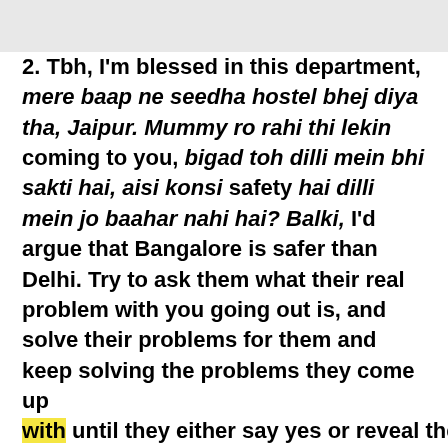2. Tbh, I'm blessed in this department, mere baap ne seedha hostel bhej diya tha, Jaipur. Mummy ro rahi thi lekin coming to you, bigad toh dilli mein bhi sakti hai, aisi konsi safety hai dilli mein jo baahar nahi hai? Balki, I'd argue that Bangalore is safer than Delhi. Try to ask them what their real problem with you going out is, and solve their problems for them and keep solving the problems they come up with until they either say yes or reveal the true